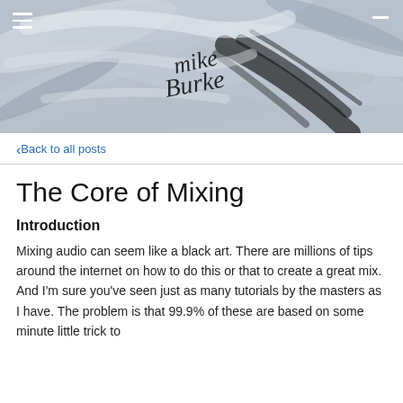[Figure (illustration): Abstract brushstroke header image in black, white and grey tones with a handwritten signature reading 'Mike Burke'. Menu hamburger icon top-left, dash icon top-right.]
< Back to all posts
The Core of Mixing
Introduction
Mixing audio can seem like a black art. There are millions of tips around the internet on how to do this or that to create a great mix. And I'm sure you've seen just as many tutorials by the masters as I have. The problem is that 99.9% of these are based on some minute little trick to